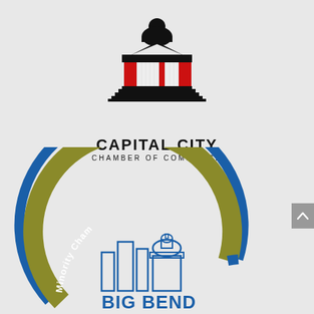[Figure (logo): Capital City Chamber of Commerce logo: black silhouette of a government building with dome and columns, red accent panels on the columns, with text CAPITAL CITY and CHAMBER OF COMMERCE below]
[Figure (logo): Big Bend Minority Chamber logo: circular badge with blue outer ring and olive/gold inner arc, with text Minority Cha(mber) along the arc, and a blue outline illustration of city skyline with capitol dome, and BIG BEND text at bottom]